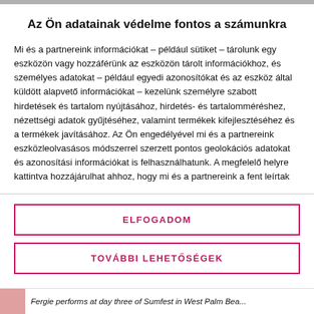Az Ön adatainak védelme fontos a számunkra
Mi és a partnereink információkat – például sütiket – tárolunk egy eszközön vagy hozzáférünk az eszközön tárolt információkhoz, és személyes adatokat – például egyedi azonosítókat és az eszköz által küldött alapvető információkat – kezelünk személyre szabott hirdetések és tartalom nyújtásához, hirdetés- és tartalomméréshez, nézettségi adatok gyűjtéséhez, valamint termékek kifejlesztéséhez és a termékek javításához. Az Ön engedélyével mi és a partnereink eszközleolvasásos módszerrel szerzett pontos geolokációs adatokat és azonosítási információkat is felhasználhatunk. A megfelelő helyre kattintva hozzájárulhat ahhoz, hogy mi és a partnereink a fent leírtak
ELFOGADOM
TOVÁBBI LEHETŐSÉGEK
Fergie performs at day three of Sumfest in West Palm Bea...